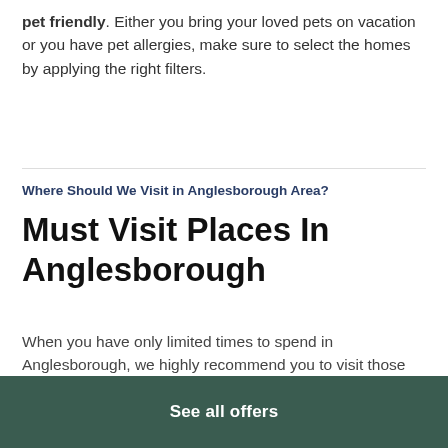pet friendly. Either you bring your loved pets on vacation or you have pet allergies, make sure to select the homes by applying the right filters.
Where Should We Visit in Anglesborough Area?
Must Visit Places In Anglesborough
When you have only limited times to spend in Anglesborough, we highly recommend you to visit those famous places:
Mitchelstown Cave : 369 Holiday Homes
Ballyhoura Outdoor Classroom - Griston Bog : 341 Holiday Homes
See all offers